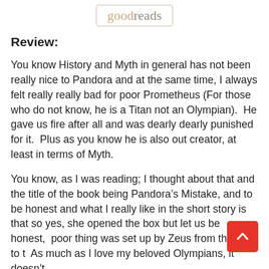goodreads
Review:
You know History and Myth in general has not been really nice to Pandora and at the same time, I always felt really really bad for poor Prometheus (For those who do not know, he is a Titan not an Olympian).  He gave us fire after all and was dearly dearly punished for it.  Plus as you know he is also out creator, at least in terms of Myth.
You know, as I was reading; I thought about that and the title of the book being Pandora’s Mistake, and to be honest and what I really like in the short story is that so yes, she opened the box but let us be honest, the poor thing was set up by Zeus from the start to t  As much as I love my beloved Olympians, it doesn’t